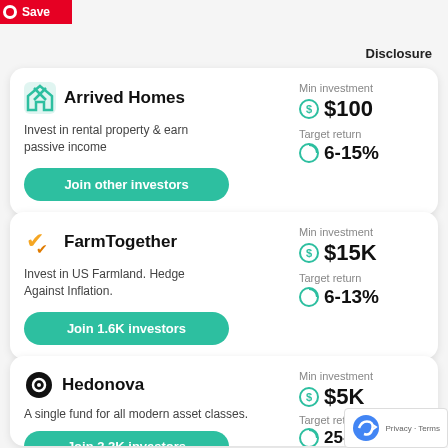[Figure (logo): Pinterest Save button in red]
Disclosure
Arrived Homes
Invest in rental property & earn passive income
Min investment
$100
Target return
6-15%
Join other investors
FarmTogether
Invest in US Farmland. Hedge Against Inflation.
Min investment
$15K
Target return
6-13%
Join 1.6K investors
Hedonova
A single fund for all modern asset classes.
Min investment
$5K
Target retu
25-35%
Join 3.2K investors